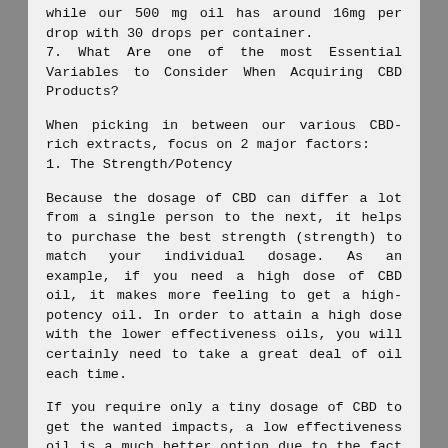while our 500 mg oil has around 16mg per drop with 30 drops per container.
7. What Are one of the most Essential Variables to Consider When Acquiring CBD Products?
When picking in between our various CBD-rich extracts, focus on 2 major factors:
1. The Strength/Potency
Because the dosage of CBD can differ a lot from a single person to the next, it helps to purchase the best strength (strength) to match your individual dosage. As an example, if you need a high dose of CBD oil, it makes more feeling to get a high-potency oil. In order to attain a high dose with the lower effectiveness oils, you will certainly need to take a great deal of oil each time.
If you require only a tiny dosage of CBD to get the wanted impacts, a low effectiveness oil is a much better option due to the fact that it's more challenging to overdo on your CBD dose with those